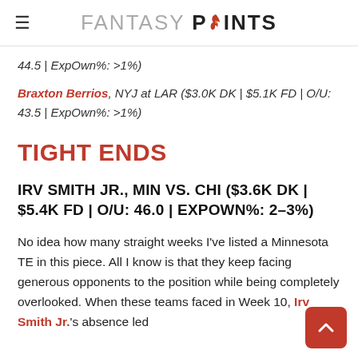FANTASY POINTS
44.5 | ExpOwn%: >1%)
Braxton Berrios, NYJ at LAR ($3.0K DK | $5.1K FD | O/U: 43.5 | ExpOwn%: >1%)
TIGHT ENDS
IRV SMITH JR., MIN VS. CHI ($3.6K DK | $5.4K FD | O/U: 46.0 | EXPOWN%: 2–3%)
No idea how many straight weeks I've listed a Minnesota TE in this piece. All I know is that they keep facing generous opponents to the position while being completely overlooked. When these teams faced in Week 10, Irv Smith Jr.'s absence led